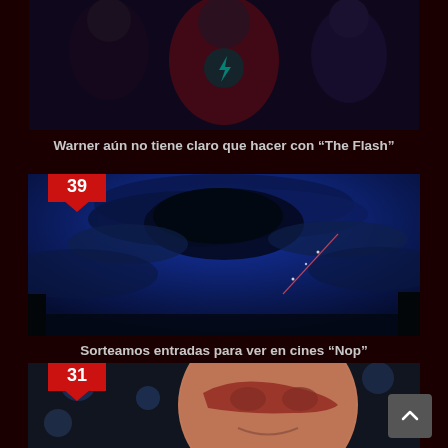[Figure (photo): Film still from The Flash showing three characters in a dark scene, Flash in red suit with lightning bolt emblem]
Warner aún no tiene claro que hacer con "The Flash"
[Figure (photo): Dark blue stormy sky scene, likely from the movie Nop, with swirling clouds and a faint trail of light]
Sorteamos entradas para ver en cines "Nop"
[Figure (photo): Close-up of actor in Flash mask/costume smiling, city lights bokeh in background]